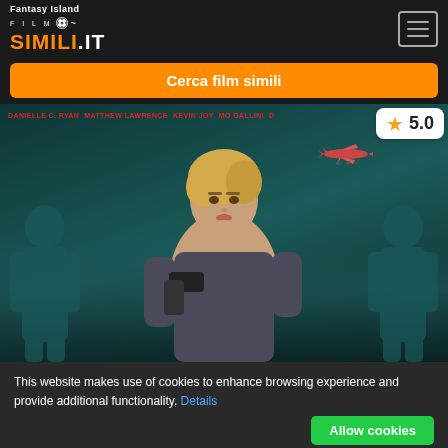Fantasy Island — FilmSimili.it
Cerca film simili
[Figure (photo): Fantasy Island movie poster showing a blonde woman holding a weapon, with actor names DANIELLE C. RYAN, MATTHEW LAWRENCE, KEVIN JOY, MO GALLINI and others across the top, a small airplane in the background, and a rating badge showing 5.0 stars]
This website makes use of cookies to enhance browsing experience and provide additional functionality. Details
Allow cookies